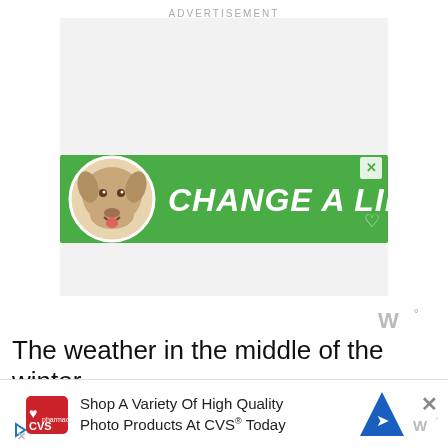ADVERTISEMENT
[Figure (illustration): Green banner advertisement with a dog photo on the left and the text 'CHANGE A LIFE' in large white italic bold letters, with a small heart icon and a close X button in the top right corner.]
[Figure (illustration): Weather.com watermark logo: stylized 'W' with a degree symbol superscript in gray.]
The weather in the middle of the winter
c
[Figure (illustration): Bottom banner ad: CVS Pharmacy logo on left, text 'Shop A Variety Of High Quality Photo Products At CVS® Today', blue navigation arrow icon, and a close X button on the right with weather.com watermark below.]